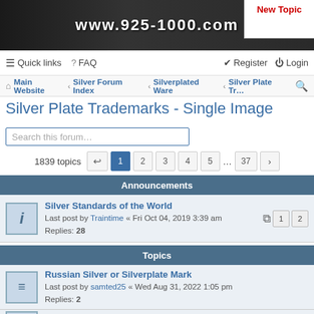[Figure (screenshot): Website banner with silver hallmarks background and URL www.925-1000.com in white text]
New Topic
≡ Quick links  ? FAQ    Register  Login
Main Website › Silver Forum Index › Silverplated Ware › Silver Plate Tr...  🔍
Silver Plate Trademarks - Single Image
Search this forum…
1839 topics  [«]  1  2  3  4  5  ...  37  [›]
Announcements
Silver Standards of the World
Last post by Traintime « Fri Oct 04, 2019 3:39 am
Replies: 28
Topics
Russian Silver or Silverplate Mark
Last post by samted25 « Wed Aug 31, 2022 1:05 pm
Replies: 2
Unknown mark
Last post by dognose « Mon Aug 08, 2022 7:33 am
Replies: 1